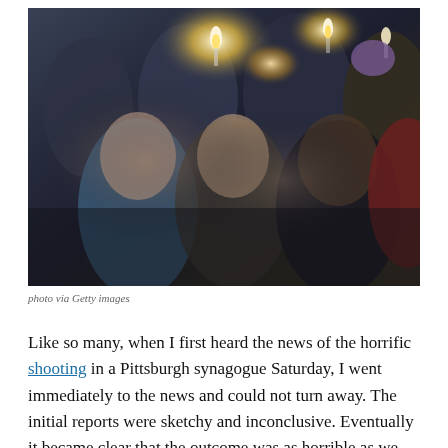[Figure (photo): A crowd of people at a candlelight vigil at night, holding candles aloft. Faces of diverse individuals are visible, looking somber. The scene is dimly lit with warm candlelight against a dark background.]
photo via Getty images
Like so many, when I first heard the news of the horrific shooting in a Pittsburgh synagogue Saturday, I went immediately to the news and could not turn away. The initial reports were sketchy and inconclusive. Eventually it became clear that the outcome was as horrible as we could possibly